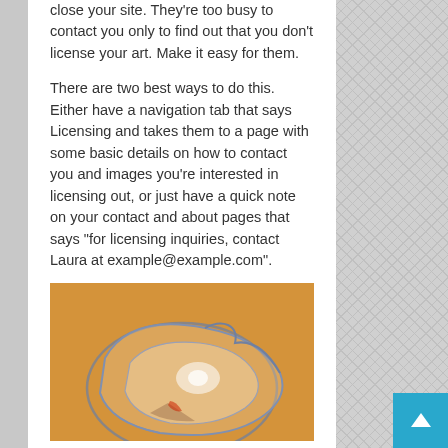close your site. They're too busy to contact you only to find out that you don't license your art. Make it easy for them.
There are two best ways to do this. Either have a navigation tab that says Licensing and takes them to a page with some basic details on how to contact you and images you're interested in licensing out, or just have a quick note on your contact and about pages that says "for licensing inquiries, contact Laura at example@example.com".
[Figure (photo): A glass vase or vessel tipped on its side against an orange/golden background, showing the transparent glass with blue-tinted edges and a reflection of light]